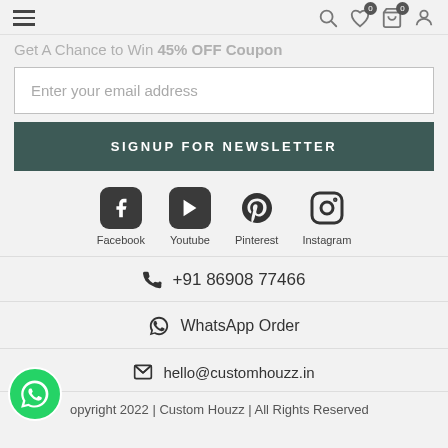Navigation bar with hamburger menu, search, wishlist (0), cart (0), and account icons
Get A Chance to Win 45% OFF Coupon
Enter your email address
SIGNUP FOR NEWSLETTER
[Figure (infographic): Social media icons row: Facebook, Youtube, Pinterest, Instagram]
+91 86908 77466
WhatsApp Order
hello@customhouzz.in
Copyright 2022 | Custom Houzz | All Rights Reserved